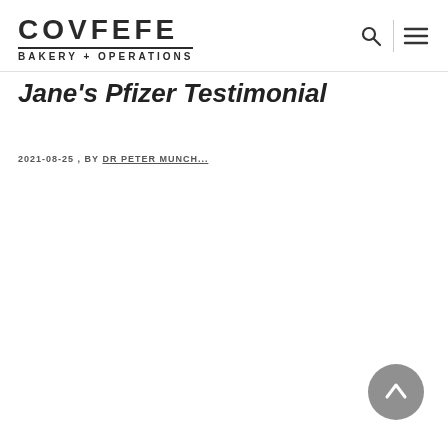COVFEFE BAKERY + OPERATIONS
Jane's Pfizer Testimonial
2021-08-25 , BY DR PETER MUNCH...